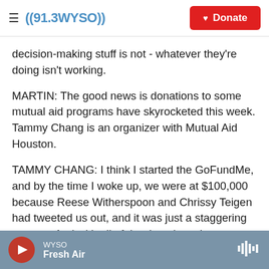((91.3 WYSO)) | Donate
decision-making stuff is not - whatever they're doing isn't working.
MARTIN: The good news is donations to some mutual aid programs have skyrocketed this week. Tammy Chang is an organizer with Mutual Aid Houston.
TAMMY CHANG: I think I started the GoFundMe, and by the time I woke up, we were at $100,000 because Reese Witherspoon and Chrissy Teigen had tweeted us out, and it was just a staggering amount. And with all of the donations that we
WYSO | Fresh Air